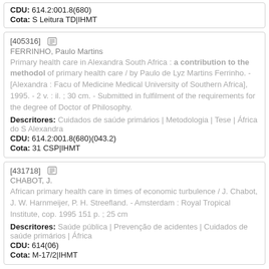CDU: 614.2:001.8(680)
Cota: S Leitura TD|IHMT
[405316]
FERRINHO, Paulo Martins
Primary health care in Alexandra South Africa : a contribution to the methodol of primary health care / by Paulo de Lyz Martins Ferrinho. - [Alexandra : Facu of Medicine Medical University of Southern Africa], 1995. - 2 v. : il. ; 30 cm. - Submitted in fulfilment of the requirements for the degree of Doctor of Philosophy.
Descritores: Cuidados de saúde primários | Metodologia | Tese | África do S Alexandra
CDU: 614.2:001.8(680)(043.2)
Cota: 31 CSP|IHMT
[431718]
CHABOT, J.
African primary health care in times of economic turbulence / J. Chabot, J. W. Harnmeijer, P. H. Streefland. - Amsterdam : Royal Tropical Institute, cop. 1995 151 p. ; 25 cm
Descritores: Saúde pública | Prevenção de acidentes | Cuidados de saúde primários | África
CDU: 614(06)
Cota: M-17/2|IHMT